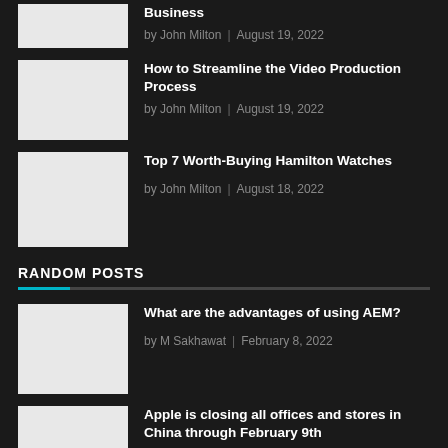Business by John Milton | August 19, 2022
How to Streamline the Video Production Process by John Milton | August 19, 2022
Top 7 Worth-Buying Hamilton Watches by John Milton | August 18, 2022
RANDOM POSTS
What are the advantages of using AEM? by M Sakhawat | February 8, 2022
Apple is closing all offices and stores in China through February 9th